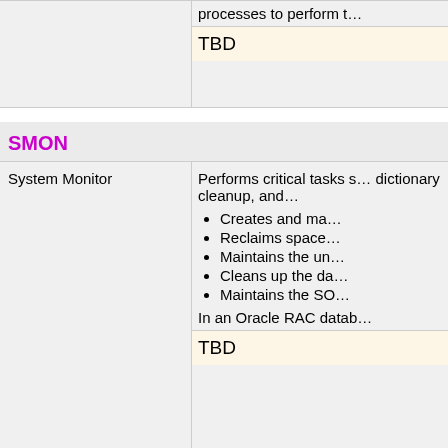| Process | Description |
| --- | --- |
|  | processes to perform t…
TBD |
| System Monitor | Performs critical tasks s…dictionary cleanup, and…
• Creates and ma…
• Reclaims space…
• Maintains the un…
• Cleans up the da…
• Maintains the SO…
In an Oracle RAC datab…
TBD |
| SPA (SQL Performance Analyzer) Slave | Analyzes single SQL st…
TBD |
| Service Background Process | Part of RAC:  Provides…
Every 30 seconds the p… |
SMON
SP
SVCB